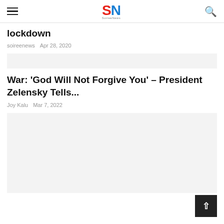SN — SoireeNews
lockdown
soireenews   Apr 28, 2020
[Figure (other): Gray placeholder image for article 1]
War: 'God Will Not Forgive You' – President Zelensky Tells...
Joy Kalu   Mar 7, 2022
[Figure (other): Gray placeholder image for article 2]